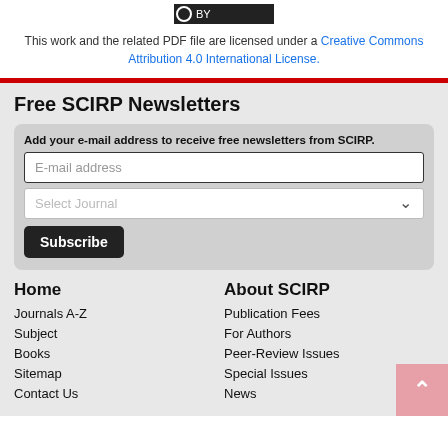[Figure (logo): Creative Commons BY logo badge]
This work and the related PDF file are licensed under a Creative Commons Attribution 4.0 International License.
Free SCIRP Newsletters
Add your e-mail address to receive free newsletters from SCIRP.
Home
About SCIRP
Journals A-Z
Publication Fees
Subject
For Authors
Books
Peer-Review Issues
Sitemap
Special Issues
Contact Us
News